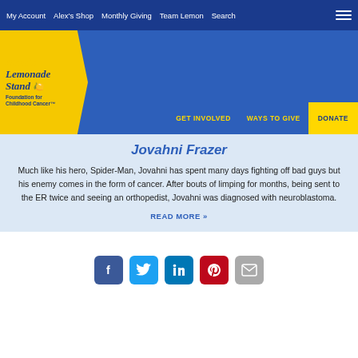My Account | Alex's Shop | Monthly Giving | Team Lemon | Search
[Figure (logo): Alex's Lemonade Stand Foundation for Childhood Cancer logo on yellow pennant background]
GET INVOLVED   WAYS TO GIVE   DONATE
Jovahni Frazer
Much like his hero, Spider-Man, Jovahni has spent many days fighting off bad guys but his enemy comes in the form of cancer. After bouts of limping for months, being sent to the ER twice and seeing an orthopedist, Jovahni was diagnosed with neuroblastoma.
READ MORE »
[Figure (infographic): Social sharing icons row: Facebook (blue), Twitter (light blue), LinkedIn (dark blue), Pinterest (red), Email (gray)]